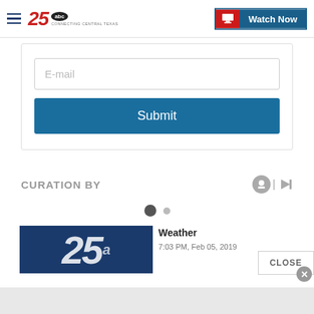KXXV 25 ABC - Connecting Central Texas | Watch Now
E-mail
Submit
CURATION BY
[Figure (other): Pagination dots: one filled dark dot and one smaller light dot]
[Figure (photo): KXXV 25 ABC logo thumbnail in dark blue background]
Weather
7:03 PM, Feb 05, 2019
CLOSE